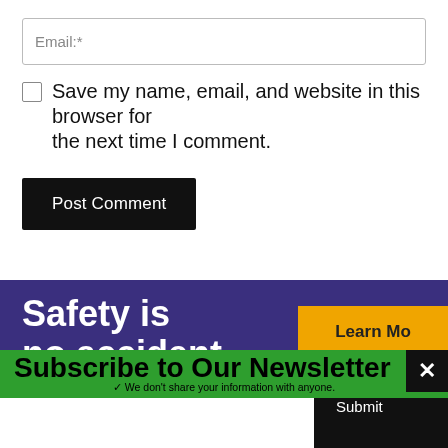Email:*
Save my name, email, and website in this browser for the next time I comment.
Post Comment
[Figure (screenshot): Purple banner with white bold text 'Safety is no accident' and an orange 'Learn More' button on the right]
Subscribe to Our Newsletter
Don't miss out on daily news from TheTrucker.com! Enter your email address to have our newsletters and email alerts sent straight to your mailbox — all for free.
✓ We don't share your information with anyone.